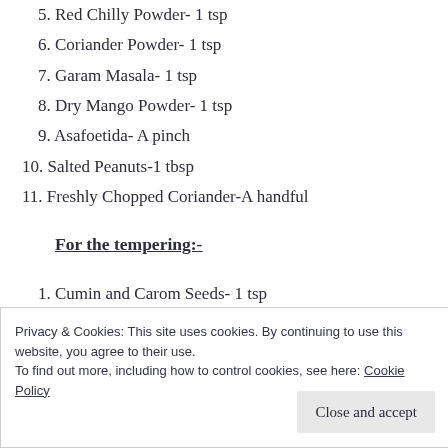5. Red Chilly Powder- 1 tsp
6. Coriander Powder- 1 tsp
7. Garam Masala- 1 tsp
8. Dry Mango Powder- 1 tsp
9. Asafoetida- A pinch
10. Salted Peanuts-1 tbsp
11. Freshly Chopped Coriander-A handful
For the tempering:-
1. Cumin and Carom Seeds- 1 tsp
2. Vegetable Oil- 3 tbsp
Privacy & Cookies: This site uses cookies. By continuing to use this website, you agree to their use.
To find out more, including how to control cookies, see here: Cookie Policy